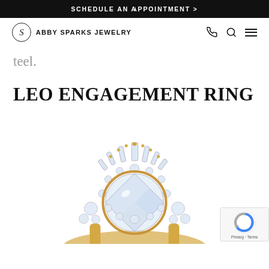SCHEDULE AN APPOINTMENT >
[Figure (logo): Abby Sparks Jewelry logo with stylized S in circle and brand name]
teel.
LEO ENGAGEMENT RING
[Figure (photo): Close-up photograph of the Leo engagement ring featuring a round brilliant center diamond surrounded by a halo of smaller diamonds and baguette diamonds arranged in a sunburst crown pattern, set in yellow gold.]